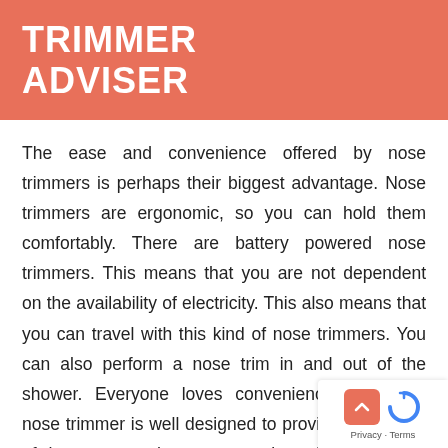TRIMMER ADVISER
The ease and convenience offered by nose trimmers is perhaps their biggest advantage. Nose trimmers are ergonomic, so you can hold them comfortably. There are battery powered nose trimmers. This means that you are not dependent on the availability of electricity. This also means that you can travel with this kind of nose trimmers. You can also perform a nose trim in and out of the shower. Everyone loves convenience, and they nose trimmer is well designed to provide this is one of the reasons why many people make use of this device for trimming their nasal hair.